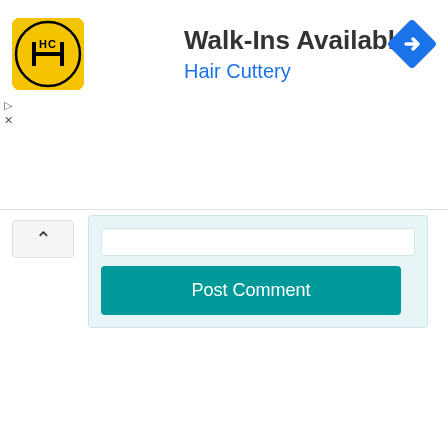[Figure (screenshot): Advertisement banner for Hair Cuttery with yellow logo showing HC initials, title 'Walk-Ins Available', subtitle 'Hair Cuttery' in blue, blue diamond navigation icon top right, and small play/close controls on left side]
Post Comment
[Figure (screenshot): Comment section with light teal background, text input area, and teal Post Comment button]